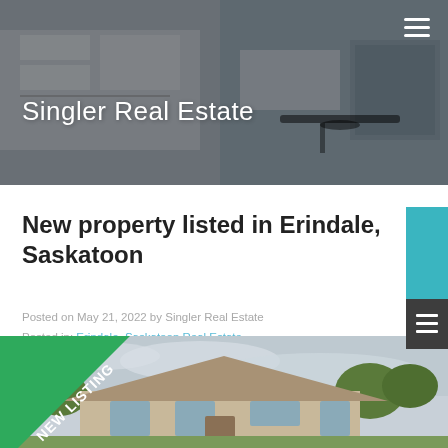Singler Real Estate
New property listed in Erindale, Saskatoon
Posted on May 21, 2022 by Singler Real Estate
Posted in: Erindale, Saskatoon Real Estate
[Figure (photo): Exterior photo of a house with 'NEW LISTING' banner in the corner, showing a residential home with trees in background under a cloudy sky.]